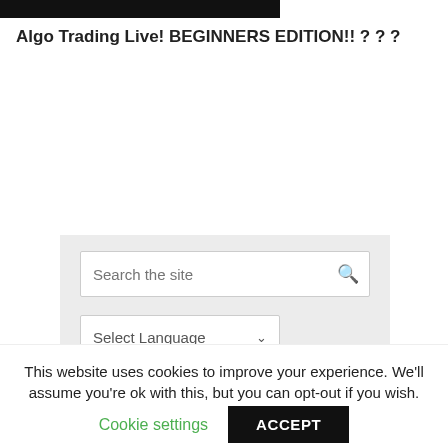[Figure (screenshot): Dark/black rectangular banner image at top of page]
Algo Trading Live! BEGINNERS EDITION!! ? ? ?
[Figure (screenshot): Sidebar section with search box and language selector on grey background]
This website uses cookies to improve your experience. We'll assume you're ok with this, but you can opt-out if you wish.
Cookie settings
ACCEPT